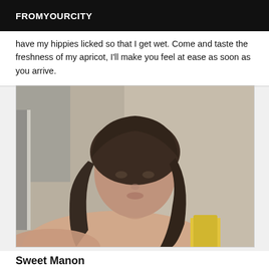FROMYOURCITY
have my hippies licked so that I get wet. Come and taste the freshness of my apricot, I'll make you feel at ease as soon as you arrive.
[Figure (photo): A woman with dark hair wearing a yellow top, taking a selfie photo indoors against a light-colored wall background. The photo is slightly blurry.]
Sweet Manon